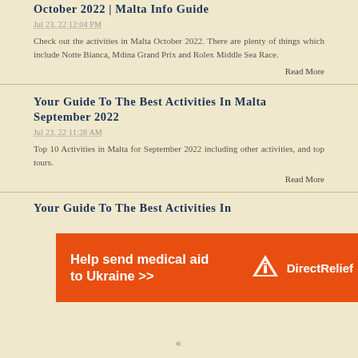October 2022 | Malta Info Guide
Jul 23, 22 12:04 PM
Check out the activities in Malta October 2022. There are plenty of things which include Notte Bianca, Mdina Grand Prix and Rolex Middle Sea Race.
Read More
Your Guide To The Best Activities In Malta September 2022
Jul 23, 22 11:28 AM
Top 10 Activities in Malta for September 2022 including other activities, and top tours.
Read More
Your Guide To The Best Activities In
[Figure (infographic): Orange Direct Relief advertisement banner: 'Help send medical aid to Ukraine >>' with Direct Relief logo on the right]
«